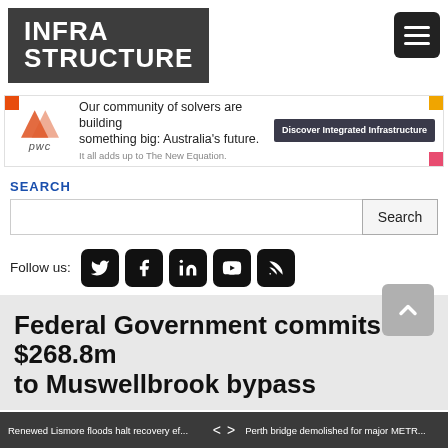[Figure (logo): Infrastructure magazine logo - white bold text on dark gray background]
[Figure (infographic): PwC advertisement banner: Our community of solvers are building something big: Australia's future. It all adds up to The New Equation. Discover Integrated Infrastructure button.]
SEARCH
Follow us:
Federal Government commits $268.8m to Muswellbrook bypass
Renewed Lismore floods halt recovery ef... < > Perth bridge demolished for major METR...